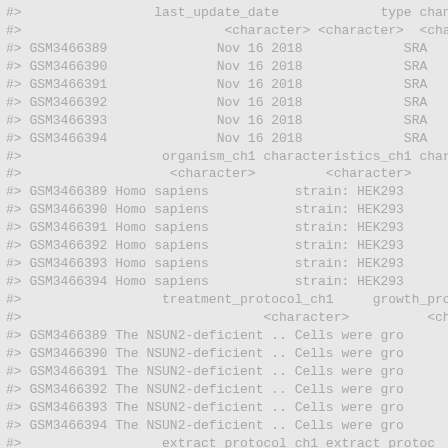#>                 last_update_date             type channel_
#>                          <character> <character>  <chara
#> GSM3466389              Nov 16 2018             SRA
#> GSM3466390              Nov 16 2018             SRA
#> GSM3466391              Nov 16 2018             SRA
#> GSM3466392              Nov 16 2018             SRA
#> GSM3466393              Nov 16 2018             SRA
#> GSM3466394              Nov 16 2018             SRA
#>                  organism_ch1 characteristics_ch1 char
#>                   <character>         <character>
#> GSM3466389 Homo sapiens           strain: HEK293
#> GSM3466390 Homo sapiens           strain: HEK293
#> GSM3466391 Homo sapiens           strain: HEK293
#> GSM3466392 Homo sapiens           strain: HEK293
#> GSM3466393 Homo sapiens           strain: HEK293
#> GSM3466394 Homo sapiens           strain: HEK293
#>                  treatment_protocol_ch1     growth_prot
#>                               <character>          <ch
#> GSM3466389 The NSUN2-deficient .. Cells were gro
#> GSM3466390 The NSUN2-deficient .. Cells were gro
#> GSM3466391 The NSUN2-deficient .. Cells were gro
#> GSM3466392 The NSUN2-deficient .. Cells were gro
#> GSM3466393 The NSUN2-deficient .. Cells were gro
#> GSM3466394 The NSUN2-deficient .. Cells were gro
#>                  extract_protocol_ch1 extract_protoc
#>                               <character>          <ch
#> GSM3466389 Total RNA of cells w.. Next generatio